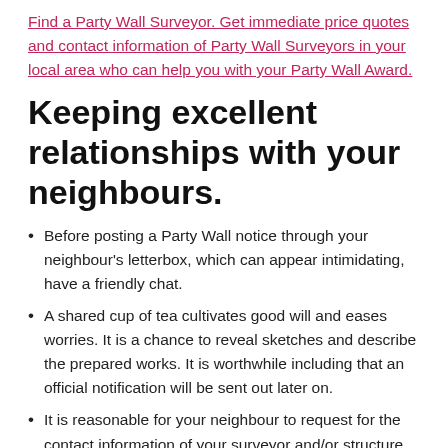Find a Party Wall Surveyor. Get immediate price quotes and contact information of Party Wall Surveyors in your local area who can help you with your Party Wall Award.
Keeping excellent relationships with your neighbours.
Before posting a Party Wall notice through your neighbour's letterbox, which can appear intimidating, have a friendly chat.
A shared cup of tea cultivates good will and eases worries. It is a chance to reveal sketches and describe the prepared works. It is worthwhile including that an official notification will be sent out later on.
It is reasonable for your neighbour to request for the contact information of your surveyor and/or structure